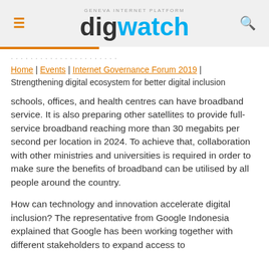GENEVA INTERNET PLATFORM digwatch
Home | Events | Internet Governance Forum 2019 | Strengthening digital ecosystem for better digital inclusion
schools, offices, and health centres can have broadband service. It is also preparing other satellites to provide full-service broadband reaching more than 30 megabits per second per location in 2024. To achieve that, collaboration with other ministries and universities is required in order to make sure the benefits of broadband can be utilised by all people around the country.
How can technology and innovation accelerate digital inclusion? The representative from Google Indonesia explained that Google has been working together with different stakeholders to expand access to